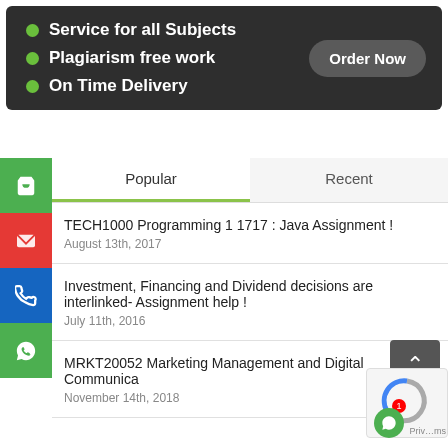[Figure (screenshot): Dark banner with three bullet points: 'Service for all Subjects', 'Plagiarism free work', 'On Time Delivery', and an 'Order Now' button on the right.]
[Figure (screenshot): Sidebar with green cart icon, red email icon, blue phone icon, and green WhatsApp icon. Main area has Popular/Recent tabs. Three post listings: 'TECH1000 Programming 1 1717 : Java Assignment ! (August 13th, 2017)', 'Investment, Financing and Dividend decisions are interlinked- Assignment help ! (July 11th, 2016)', 'MRKT20052 Marketing Management and Digital Communica... (November 14th, 2018)'. Scroll-to-top button and reCAPTCHA overlay visible.]